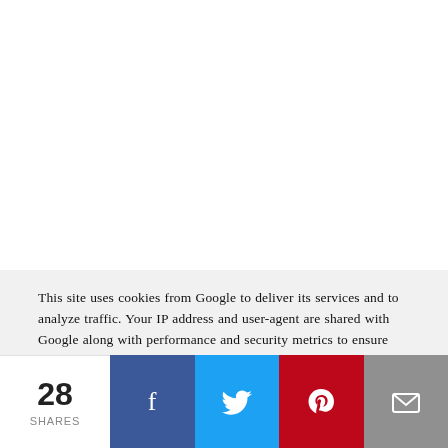This site uses cookies from Google to deliver its services and to analyze traffic. Your IP address and user-agent are shared with Google along with performance and security metrics to ensure quality of service, generate usage statistics, and to detect and address abuse.
28 SHARES